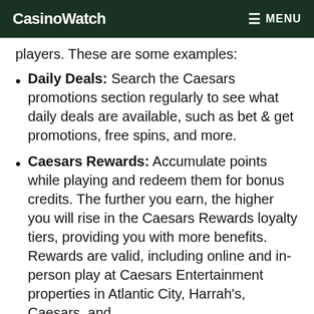CasinoWatch MENU
players. These are some examples:
Daily Deals: Search the Caesars promotions section regularly to see what daily deals are available, such as bet & get promotions, free spins, and more.
Caesars Rewards: Accumulate points while playing and redeem them for bonus credits. The further you earn, the higher you will rise in the Caesars Rewards loyalty tiers, providing you with more benefits. Rewards are valid, including online and in-person play at Caesars Entertainment properties in Atlantic City, Harrah's, Caesars, and